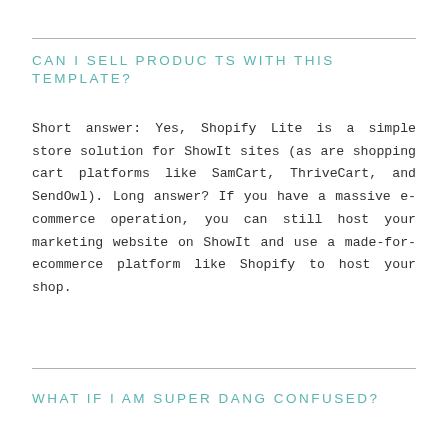CAN I SELL PRODUCTS WITH THIS TEMPLATE?
Short answer: Yes, Shopify Lite is a simple store solution for ShowIt sites (as are shopping cart platforms like SamCart, ThriveCart, and SendOwl). Long answer? If you have a massive e-commerce operation, you can still host your marketing website on ShowIt and use a made-for-ecommerce platform like Shopify to host your shop.
WHAT IF I AM SUPER DANG CONFUSED?